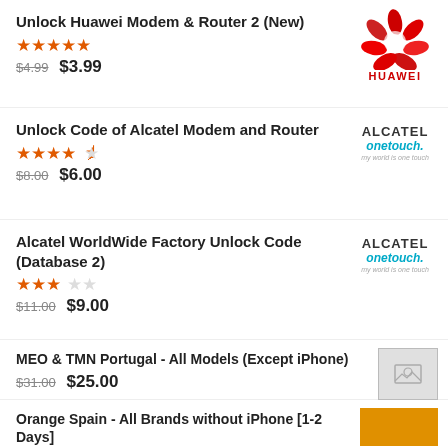Unlock Huawei Modem & Router 2 (New) ★★★★★ $4.99 $3.99
Unlock Code of Alcatel Modem and Router ★★★★½ $8.00 $6.00
Alcatel WorldWide Factory Unlock Code (Database 2) ★★★☆☆ $11.00 $9.00
MEO & TMN Portugal - All Models (Except iPhone) $31.00 $25.00
Orange Spain - All Brands without iPhone [1-2 Days]